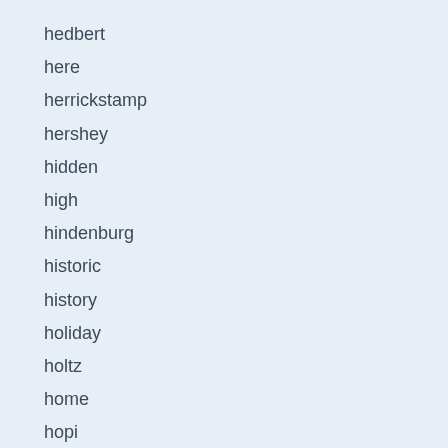hedbert
here
herrickstamp
hershey
hidden
high
hindenburg
historic
history
holiday
holtz
home
hopi
horiz
horizontal